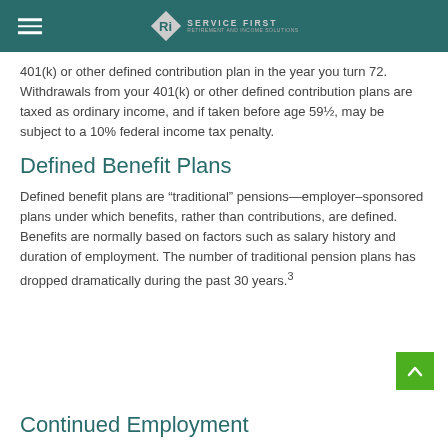Ri Service First
401(k) or other defined contribution plan in the year you turn 72. Withdrawals from your 401(k) or other defined contribution plans are taxed as ordinary income, and if taken before age 59½, may be subject to a 10% federal income tax penalty.
Defined Benefit Plans
Defined benefit plans are “traditional” pensions—employer–sponsored plans under which benefits, rather than contributions, are defined. Benefits are normally based on factors such as salary history and duration of employment. The number of traditional pension plans has dropped dramatically during the past 30 years.3
Continued Employment